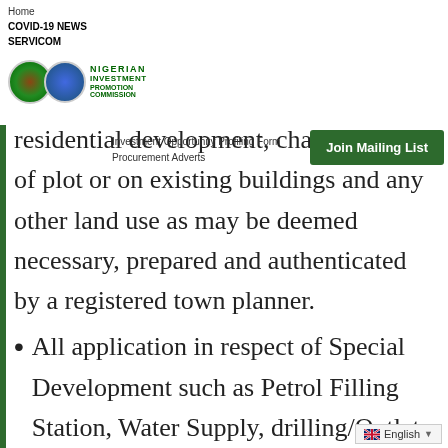Home
COVID-19 NEWS
SERVICOM
Investment Opportunity Profiling Form
Procurement Adverts
residential development, change of use of plot or on existing buildings and any other land use as may be deemed necessary, prepared and authenticated by a registered town planner.
All application in respect of Special Development such as Petrol Filling Station, Water Supply, drilling/Outlets, private health and